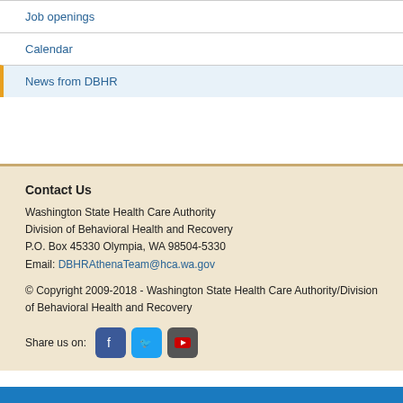Job openings
Calendar
News from DBHR
Contact Us
Washington State Health Care Authority
Division of Behavioral Health and Recovery
P.O. Box 45330 Olympia, WA 98504-5330
Email: DBHRAthenaTeam@hca.wa.gov
© Copyright 2009-2018 - Washington State Health Care Authority/Division of Behavioral Health and Recovery
Share us on: